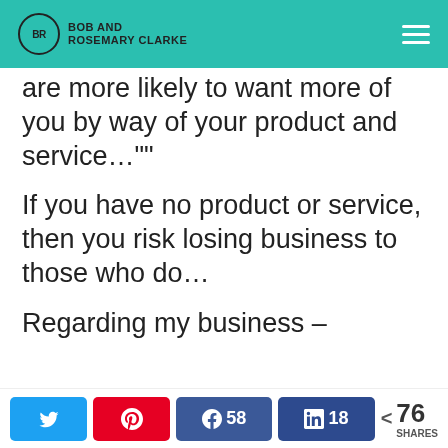Bob and Rosemary Clarke
are more likely to want more of you by way of your product and service…""
If you have no product or service, then you risk losing business to those who do…
Regarding my business –
Twitter share, Pinterest save, Facebook share 58, LinkedIn share 18, < 76 SHARES